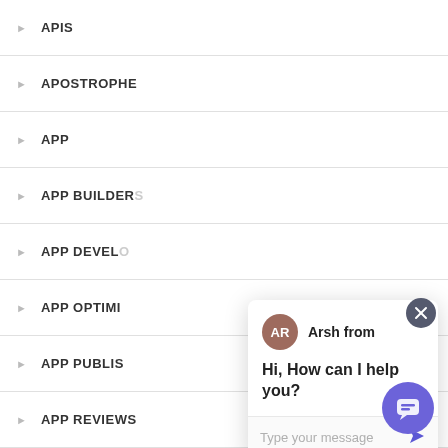APIS
APOSTROPHE
APP
APP BUILDERS
APP DEVELOPMENT
APP OPTIMIZATION
APP PUBLISHING
APP REVIEWS
APP STORES
[Figure (screenshot): Chat widget popup showing agent 'Arsh from' with avatar 'AR', message 'Hi, How can I help you?', and a text input field with placeholder 'Type your message'. A close button (X) is in the top-right corner. A purple chat bubble button is in the bottom-right corner of the page.]